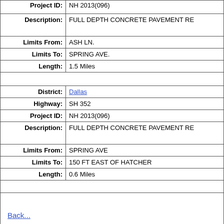| Field | Value |
| --- | --- |
| Project ID: | NH 2013(096) [partial, top cut off] |
| Description: | FULL DEPTH CONCRETE PAVEMENT RE... |
| Limits From: | ASH LN. |
| Limits To: | SPRING AVE. |
| Length: | 1.5 Miles |
| [spacer] |  |
| District: | Dallas |
| Highway: | SH 352 |
| Project ID: | NH 2013(096) |
| Description: | FULL DEPTH CONCRETE PAVEMENT RE... |
| Limits From: | SPRING AVE |
| Limits To: | 150 FT EAST OF HATCHER |
| Length: | 0.6 Miles |
| [spacer] |  |
| Back... |  |